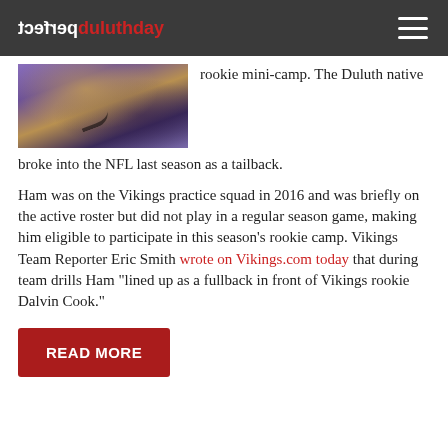perfect duluthday
[Figure (photo): Football player in purple Minnesota Vikings uniform mid-action during a game]
rookie mini-camp. The Duluth native broke into the NFL last season as a tailback.
Ham was on the Vikings practice squad in 2016 and was briefly on the active roster but did not play in a regular season game, making him eligible to participate in this season's rookie camp. Vikings Team Reporter Eric Smith wrote on Vikings.com today that during team drills Ham "lined up as a fullback in front of Vikings rookie Dalvin Cook."
READ MORE